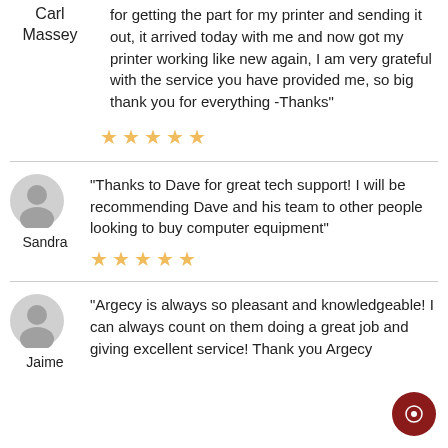Carl Massey
for getting the part for my printer and sending it out, it arrived today with me and now got my printer working like new again, I am very grateful with the service you have provided me, so big thank you for everything -Thanks"
[Figure (other): 5 gold stars rating]
Sandra
“Thanks to Dave for great tech support! I will be recommending Dave and his team to other people looking to buy computer equipment”
[Figure (other): 5 gold stars rating]
Jaime
“Argecy is always so pleasant and knowledgeable! I can always count on them doing a great job and giving excellent service! Thank you Argecy